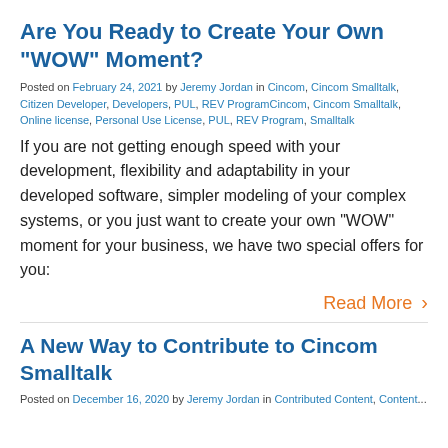Are You Ready to Create Your Own “WOW” Moment?
Posted on February 24, 2021 by Jeremy Jordan in Cincom, Cincom Smalltalk, Citizen Developer, Developers, PUL, REV ProgramCincom, Cincom Smalltalk, Online license, Personal Use License, PUL, REV Program, Smalltalk
If you are not getting enough speed with your development, flexibility and adaptability in your developed software, simpler modeling of your complex systems, or you just want to create your own “WOW” moment for your business, we have two special offers for you:
Read More ›
A New Way to Contribute to Cincom Smalltalk
Posted on December 16, 2020 by Jeremy Jordan in Contributed Content...